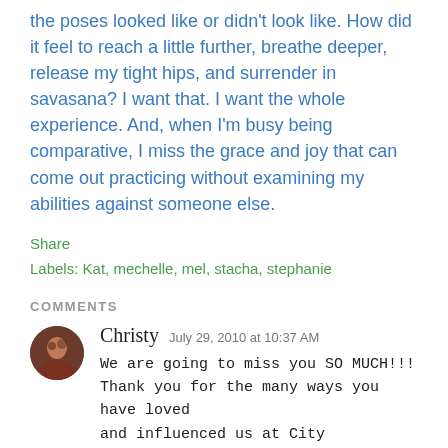the poses looked like or didn't look like. How did it feel to reach a little further, breathe deeper, release my tight hips, and surrender in savasana? I want that. I want the whole experience. And, when I'm busy being comparative, I miss the grace and joy that can come out practicing without examining my abilities against someone else.
Share
Labels: Kat, mechelle, mel, stacha, stephanie
COMMENTS
Christy  July 29, 2010 at 10:37 AM
We are going to miss you SO MUCH!!!
Thank you for the many ways you have loved and influenced us at City Centre...its so obvious how much you put your heart and your soul into what you do and its beautiful and inspiring!